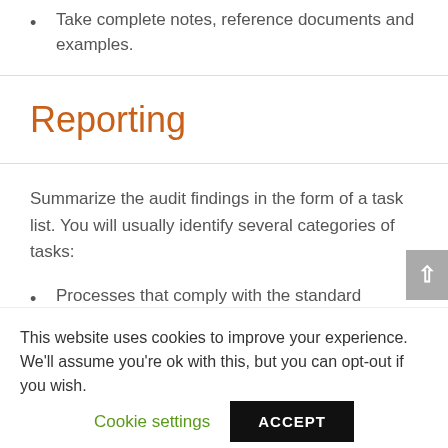Take complete notes, reference documents and examples.
Reporting
Summarize the audit findings in the form of a task list. You will usually identify several categories of tasks:
Processes that comply with the standard
This website uses cookies to improve your experience. We'll assume you're ok with this, but you can opt-out if you wish.
Cookie settings  ACCEPT